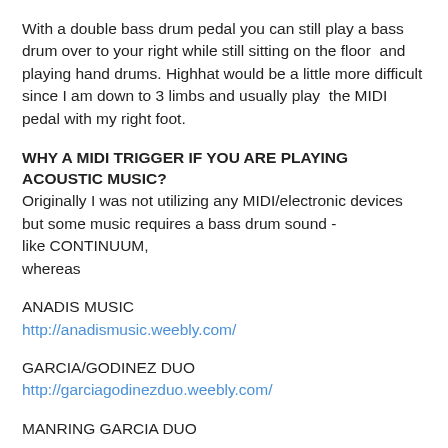With a double bass drum pedal you can still play a bass drum over to your right while still sitting on the floor  and playing hand drums. Highhat would be a little more difficult since I am down to 3 limbs and usually play  the MIDI pedal with my right foot.
WHY A MIDI TRIGGER IF YOU ARE PLAYING ACOUSTIC MUSIC?
Originally I was not utilizing any MIDI/electronic devices but some music requires a bass drum sound - like CONTINUUM,
whereas
ANADIS MUSIC
http://anadismusic.weebly.com/
GARCIA/GODINEZ DUO
http://garciagodinezduo.weebly.com/
MANRING GARCIA DUO